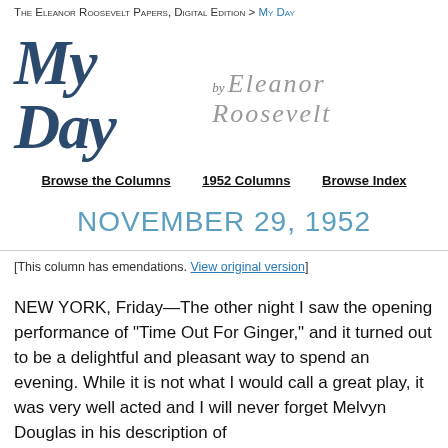The Eleanor Roosevelt Papers, Digital Edition > My Day
My Day by Eleanor Roosevelt
Browse the Columns   1952 Columns   Browse Index
NOVEMBER 29, 1952
[This column has emendations. View original version]
NEW YORK, Friday—The other night I saw the opening performance of "Time Out For Ginger," and it turned out to be a delightful and pleasant way to spend an evening. While it is not what I would call a great play, it was very well acted and I will never forget Melvyn Douglas in his description of